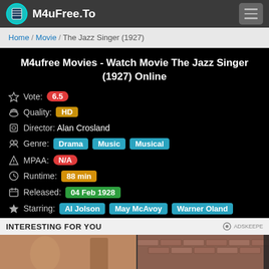M4uFree.To
Home / Movie / The Jazz Singer (1927)
M4ufree Movies - Watch Movie The Jazz Singer (1927) Online
Vote: 6.5
Quality: HD
Director: Alan Crosland
Genre: Drama Music Musical
MPAA: N/A
Runtime: 88 min
Released: 04 Feb 1928
Starring: Al Jolson May McAvoy Warner Oland
INTERESTING FOR YOU
[Figure (photo): Two thumbnail images below the interesting for you bar]